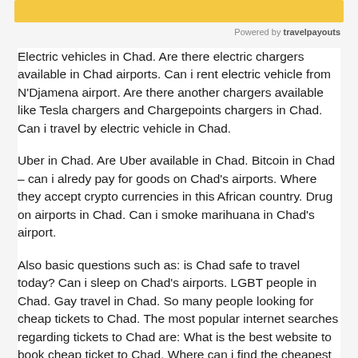[Figure (other): Yellow banner bar at top of widget]
Powered by travelpayouts
Electric vehicles in Chad. Are there electric chargers available in Chad airports. Can i rent electric vehicle from N'Djamena airport. Are there another chargers available like Tesla chargers and Chargepoints chargers in Chad. Can i travel by electric vehicle in Chad.
Uber in Chad. Are Uber available in Chad. Bitcoin in Chad – can i alredy pay for goods on Chad's airports. Where they accept crypto currencies in this African country. Drug on airports in Chad. Can i smoke marihuana in Chad's airport.
Also basic questions such as: is Chad safe to travel today? Can i sleep on Chad's airports. LGBT people in Chad. Gay travel in Chad. So many people looking for cheap tickets to Chad. The most popular internet searches regarding tickets to Chad are: What is the best website to book cheap ticket to Chad. Where can i find the cheapest tickets to Chad in Africa. Cheap flights to